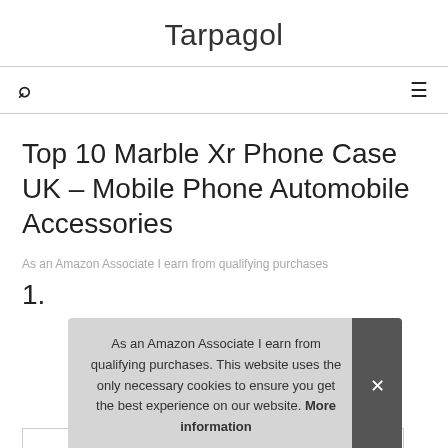Tarpagol
Top 10 Marble Xr Phone Case UK – Mobile Phone Automobile Accessories
As an Amazon Associate I earn from qualifying purchases
1.
As an Amazon Associate I earn from qualifying purchases. This website uses the only necessary cookies to ensure you get the best experience on our website. More information